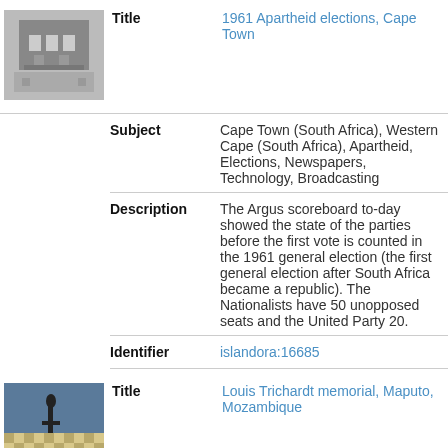[Figure (photo): Black and white thumbnail photograph of a building, likely a newspaper office in Cape Town]
Title: 1961 Apartheid elections, Cape Town
Subject: Cape Town (South Africa), Western Cape (South Africa), Apartheid, Elections, Newspapers, Technology, Broadcasting
Description: The Argus scoreboard to-day showed the state of the parties before the first vote is counted in the 1961 general election (the first general election after South Africa became a republic). The Nationalists have 50 unopposed seats and the United Party 20.
Identifier: islandora:16685
[Figure (photo): Colour thumbnail photograph of the Louis Trichardt memorial in Maputo, Mozambique, showing a geometric patterned ground]
Title: Louis Trichardt memorial, Maputo, Mozambique
Subject: Memorials--Mozambique, Historical monuments--Mozambique